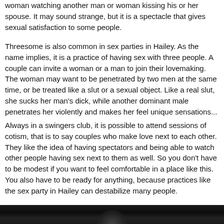woman watching another man or woman kissing his or her spouse. It may sound strange, but it is a spectacle that gives sexual satisfaction to some people.
Threesome is also common in sex parties in Hailey. As the name implies, it is a practice of having sex with three people. A couple can invite a woman or a man to join their lovemaking. The woman may want to be penetrated by two men at the same time, or be treated like a slut or a sexual object. Like a real slut, she sucks her man's dick, while another dominant male penetrates her violently and makes her feel unique sensations...
Always in a swingers club, it is possible to attend sessions of cotism, that is to say couples who make love next to each other. They like the idea of having spectators and being able to watch other people having sex next to them as well. So you don't have to be modest if you want to feel comfortable in a place like this. You also have to be ready for anything, because practices like the sex party in Hailey can destabilize many people.
[Figure (photo): Dark photograph, partially visible at bottom of page, showing a dimly lit scene with low lighting.]